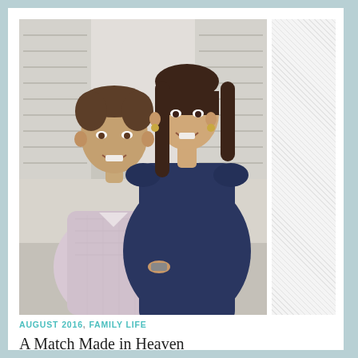[Figure (photo): A smiling couple posing together. A young man in a light pink/lavender plaid button-up shirt on the left, and a young woman in a navy blue dress with dark brown hair on the right. They are seated in front of what appears to be white shuttered windows.]
AUGUST 2016, FAMILY LIFE
A Match Made in Heaven
August 1, 2016   baton_admin